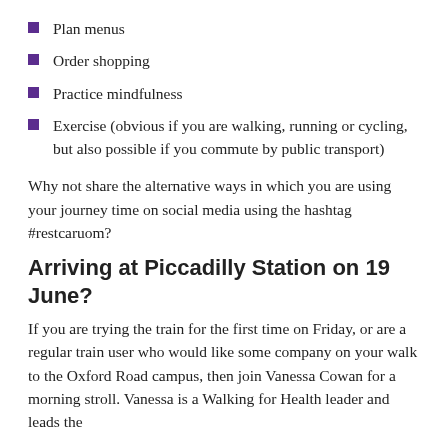Plan menus
Order shopping
Practice mindfulness
Exercise (obvious if you are walking, running or cycling, but also possible if you commute by public transport)
Why not share the alternative ways in which you are using your journey time on social media using the hashtag #restcaruom?
Arriving at Piccadilly Station on 19 June?
If you are trying the train for the first time on Friday, or are a regular train user who would like some company on your walk to the Oxford Road campus, then join Vanessa Cowan for a morning stroll. Vanessa is a Walking for Health leader and leads the